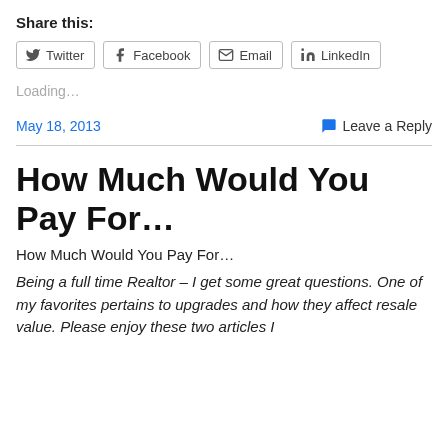Share this:
[Figure (infographic): Social share buttons for Twitter, Facebook, Email, LinkedIn]
Loading...
May 18, 2013
Leave a Reply
How Much Would You Pay For…
How Much Would You Pay For…
Being a full time Realtor – I get some great questions. One of my favorites pertains to upgrades and how they affect resale value. Please enjoy these two articles I…